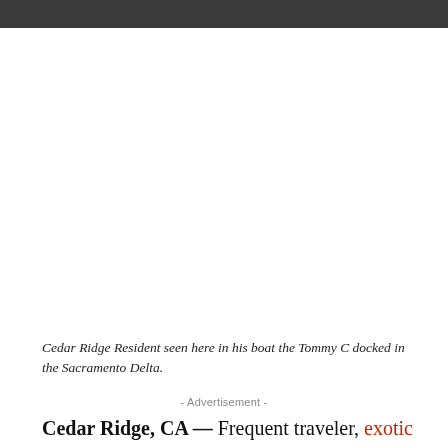[Figure (photo): Photograph of a Cedar Ridge Resident in his boat the Tommy C docked in the Sacramento Delta. The image area appears as a large white/light rectangle occupying the upper portion of the page.]
Cedar Ridge Resident seen here in his boat the Tommy C docked in the Sacramento Delta.
- Advertisement -
Cedar Ridge, CA — Frequent traveler, exotic